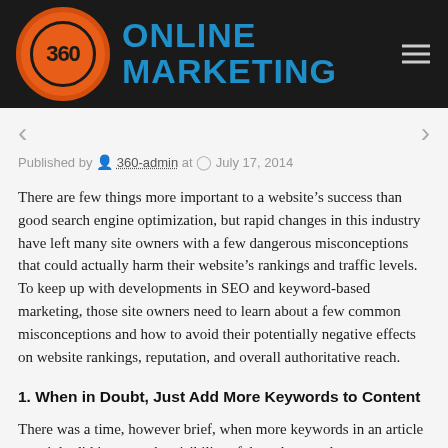[Figure (logo): 360 Online Marketing logo: orange circle with '360' text and blue 'ONLINE MARKETING' text on dark background]
Published by 360-admin at July 17, 2014
There are few things more important to a website’s success than good search engine optimization, but rapid changes in this industry have left many site owners with a few dangerous misconceptions that could actually harm their website’s rankings and traffic levels. To keep up with developments in SEO and keyword-based marketing, those site owners need to learn about a few common misconceptions and how to avoid their potentially negative effects on website rankings, reputation, and overall authoritative reach.
1. When in Doubt, Just Add More Keywords to Content
There was a time, however brief, when more keywords in an article certainly did increase the visibility of those keywords